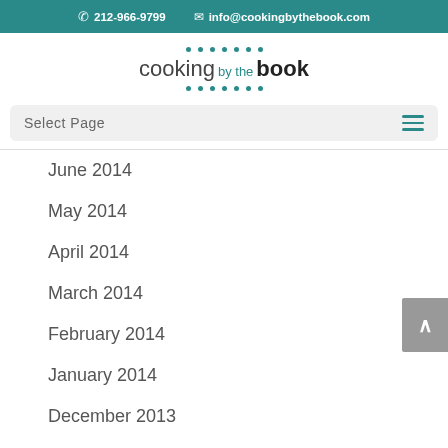212-966-9799  info@cookingbythebook.com
[Figure (logo): Cooking by the Book logo with teal dots above and below the text]
Select Page
June 2014
May 2014
April 2014
March 2014
February 2014
January 2014
December 2013
November 2013
October 2013